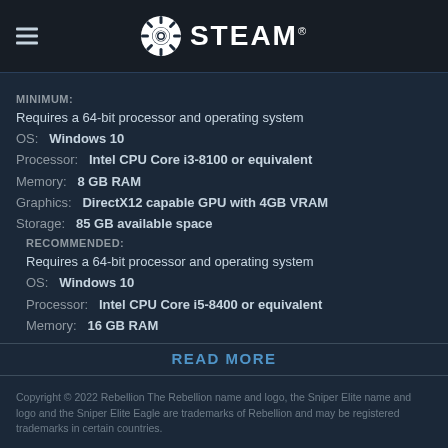STEAM®
MINIMUM:
Requires a 64-bit processor and operating system
OS:  Windows 10
Processor:  Intel CPU Core i3-8100 or equivalent
Memory:  8 GB RAM
Graphics:  DirectX12 capable GPU with 4GB VRAM
Storage:  85 GB available space
RECOMMENDED:
Requires a 64-bit processor and operating system
OS:  Windows 10
Processor:  Intel CPU Core i5-8400 or equivalent
Memory:  16 GB RAM
READ MORE
Copyright © 2022 Rebellion The Rebellion name and logo, the Sniper Elite name and logo and the Sniper Elite Eagle are trademarks of Rebellion and may be registered trademarks in certain countries.